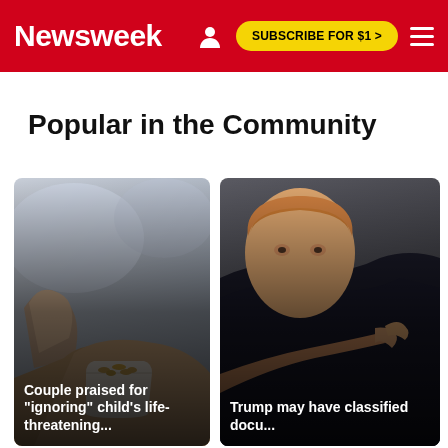Newsweek — SUBSCRIBE FOR $1 >
Popular in the Community
[Figure (photo): Close-up photo of hands, one offering a small white cup of peanuts/cashews to another person who appears to be refusing.]
Couple praised for "ignoring" child's life-threatening...
[Figure (photo): Photo of a man (Donald Trump) pointing his finger, partially visible, dark background.]
Trump may have classified docu...